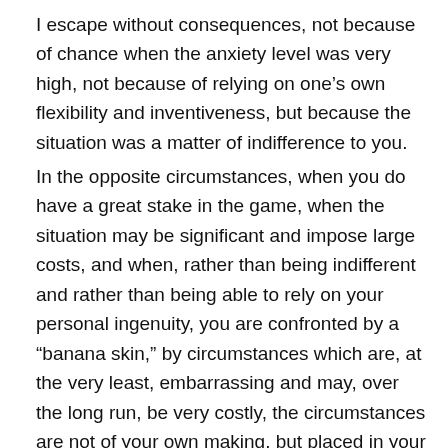I escape without consequences, not because of chance when the anxiety level was very high, not because of relying on one’s own flexibility and inventiveness, but because the situation was a matter of indifference to you.
In the opposite circumstances, when you do have a great stake in the game, when the situation may be significant and impose large costs, and when, rather than being indifferent and rather than being able to rely on your personal ingenuity, you are confronted by a “banana skin,” by circumstances which are, at the very least, embarrassing and may, over the long run, be very costly, the circumstances are not of your own making, but placed in your way as you waltzed along and did not anticipate the situation in which you could slip up. On the other hand, in some situations, there is salvation rather than a crash. That salvation does not come because of chance. Nor does